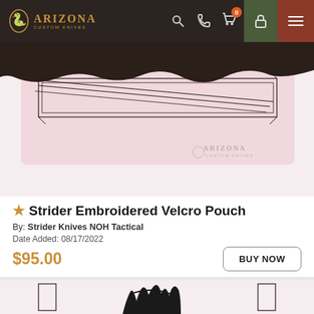Arizona Custom Knives
[Figure (photo): Product photo of a pink embroidered velcro pouch with wire-frame style illustration lines, shown at an angle on white background. Arizona Custom Knives watermark visible in lower right.]
★ Strider Embroidered Velcro Pouch
By: Strider Knives NOH Tactical
Date Added: 08/17/2022
$95.00
[Figure (photo): Second product photo partially visible, showing a pink background with black embroidered decorative/logo design.]